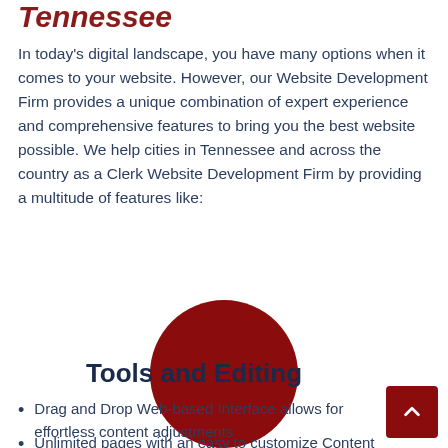Tennessee
In today's digital landscape, you have many options when it comes to your website. However, our Website Development Firm provides a unique combination of expert experience and comprehensive features to bring you the best website possible. We help cities in Tennessee and across the country as a Clerk Website Development Firm by providing a multitude of features like:
[Figure (illustration): Large dark red circle centered on the page]
Tools and Editing
Drag and Drop Web-based Interface allows for effortless content adjustments
Unlimited pages with an easy to customize Content